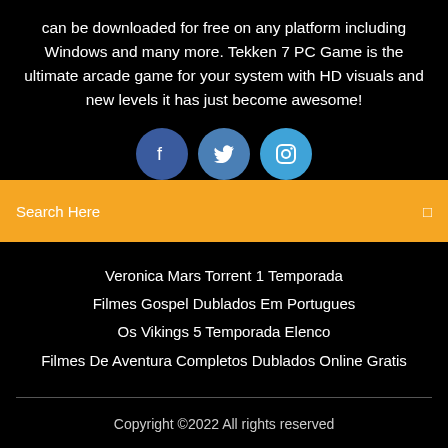can be downloaded for free on any platform including Windows and many more. Tekken 7 PC Game is the ultimate arcade game for your system with HD visuals and new levels it has just become awesome!
[Figure (other): Three social media icon buttons: Facebook (dark blue circle), Twitter (medium blue circle), Instagram (light blue circle)]
Search Here
Veronica Mars Torrent 1 Temporada
Filmes Gospel Dublados Em Portugues
Os Vikings 5 Temporada Elenco
Filmes De Aventura Completos Dublados Online Gratis
Copyright ©2022 All rights reserved